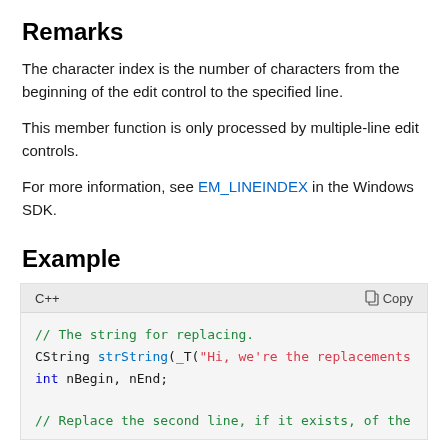Remarks
The character index is the number of characters from the beginning of the edit control to the specified line.
This member function is only processed by multiple-line edit controls.
For more information, see EM_LINEINDEX in the Windows SDK.
Example
C++  Copy
// The string for replacing.
CString strString(_T("Hi, we're the replacements
int nBegin, nEnd;

// Replace the second line, if it exists, of the